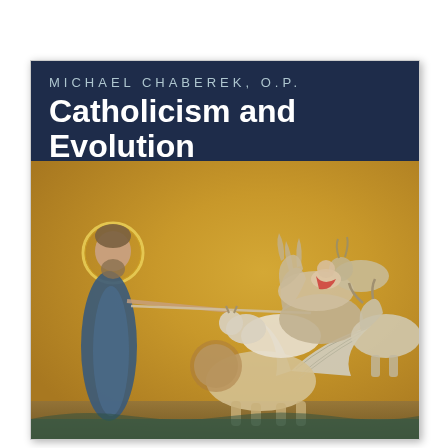[Figure (illustration): Book cover of 'Catholicism and Evolution' by Michael Chaberek, O.P. The cover has a dark navy blue header section with the author name in spaced capital letters and the title in large white bold text. Below is a Byzantine mosaic artwork showing a haloed saint figure on the left facing a group of animals including donkeys, horses, lions, and winged creatures, all on a golden background.]